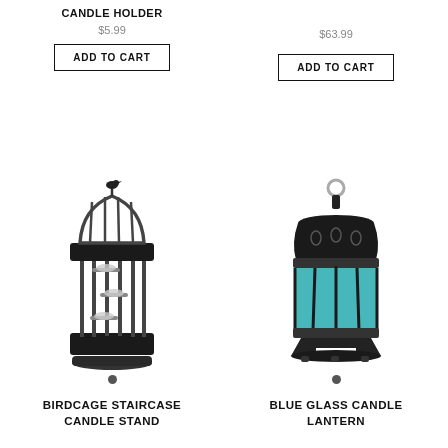CANDLE HOLDER
$5.99
ADD TO CART
$63.99
ADD TO CART
[Figure (photo): Black birdcage-style staircase candle stand with bird on top and three candle holders inside]
[Figure (photo): Blue glass candle lantern with black ornate metal frame and hanging ring on top]
BIRDCAGE STAIRCASE CANDLE STAND
BLUE GLASS CANDLE LANTERN